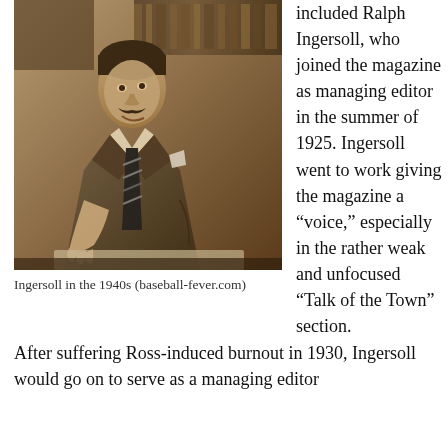[Figure (photo): Sepia-toned photograph of Ralph Ingersoll in the 1940s, a man in a suit with a mustache, gesturing with his hands, bookshelves in background]
Ingersoll in the 1940s (baseball-fever.com)
included Ralph Ingersoll, who joined the magazine as managing editor in the summer of 1925. Ingersoll went to work giving the magazine a “voice,” especially in the rather weak and unfocused “Talk of the Town” section.
After suffering Ross-induced burnout in 1930, Ingersoll would go on to serve as a managing editor